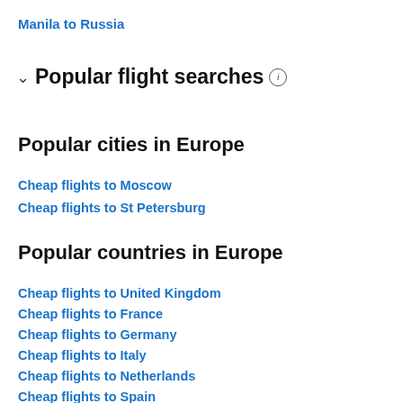Manila to Russia
Popular flight searches
Popular cities in Europe
Cheap flights to Moscow
Cheap flights to St Petersburg
Popular countries in Europe
Cheap flights to United Kingdom
Cheap flights to France
Cheap flights to Germany
Cheap flights to Italy
Cheap flights to Netherlands
Cheap flights to Spain